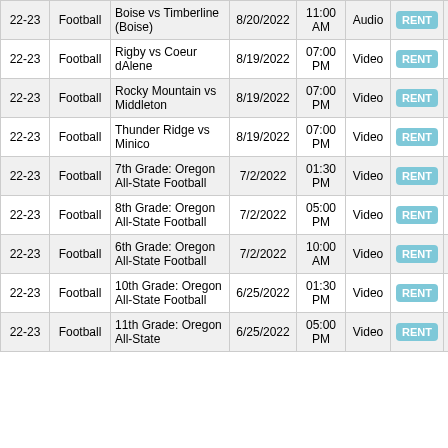| Season | Sport | Game | Date | Time | Type | Rent | Buy |
| --- | --- | --- | --- | --- | --- | --- | --- |
| 22-23 | Football | Boise vs Timberline (Boise) | 8/20/2022 | 11:00 AM | Audio | RENT | BUY |
| 22-23 | Football | Rigby vs Coeur dAlene | 8/19/2022 | 07:00 PM | Video | RENT | BUY |
| 22-23 | Football | Rocky Mountain vs Middleton | 8/19/2022 | 07:00 PM | Video | RENT | BUY |
| 22-23 | Football | Thunder Ridge vs Minico | 8/19/2022 | 07:00 PM | Video | RENT | BUY |
| 22-23 | Football | 7th Grade: Oregon All-State Football | 7/2/2022 | 01:30 PM | Video | RENT |  |
| 22-23 | Football | 8th Grade: Oregon All-State Football | 7/2/2022 | 05:00 PM | Video | RENT |  |
| 22-23 | Football | 6th Grade: Oregon All-State Football | 7/2/2022 | 10:00 AM | Video | RENT |  |
| 22-23 | Football | 10th Grade: Oregon All-State Football | 6/25/2022 | 01:30 PM | Video | RENT |  |
| 22-23 | Football | 11th Grade: Oregon All-State | 6/25/2022 | 05:00 PM | Video | RENT |  |